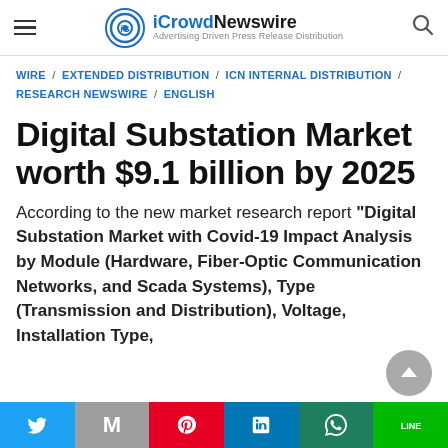iCrowdNewswire — Advertising Driven Press Release Distribution
WIRE / EXTENDED DISTRIBUTION / ICN INTERNAL DISTRIBUTION / RESEARCH NEWSWIRE / ENGLISH
Digital Substation Market worth $9.1 billion by 2025
According to the new market research report "Digital Substation Market with Covid-19 Impact Analysis by Module (Hardware, Fiber-Optic Communication Networks, and Scada Systems), Type (Transmission and Distribution), Voltage, Installation Type, Industry and Region - Global Forecast to..."